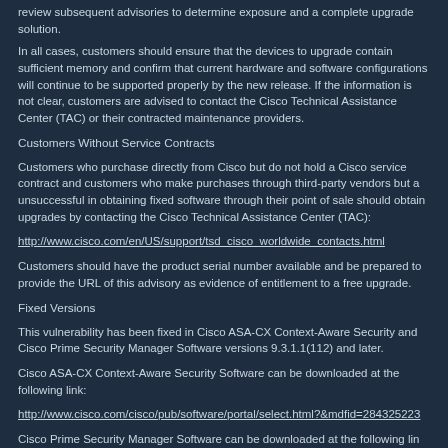review subsequent advisories to determine exposure and a complete upgrade solution.
In all cases, customers should ensure that the devices to upgrade contain sufficient memory and confirm that current hardware and software configurations will continue to be supported properly by the new release. If the information is not clear, customers are advised to contact the Cisco Technical Assistance Center (TAC) or their contracted maintenance providers.
Customers Without Service Contracts
Customers who purchase directly from Cisco but do not hold a Cisco service contract and customers who make purchases through third-party vendors but a unsuccessful in obtaining fixed software through their point of sale should obtain upgrades by contacting the Cisco Technical Assistance Center (TAC):
http://www.cisco.com/en/US/support/tsd_cisco_worldwide_contacts.html
Customers should have the product serial number available and be prepared to provide the URL of this advisory as evidence of entitlement to a free upgrade.
Fixed Versions
This vulnerability has been fixed in Cisco ASA-CX Context-Aware Security and Cisco Prime Security Manager Software versions 9.3.1.1(112) and later.
Cisco ASA-CX Context-Aware Security Software can be downloaded at the following link:
http://www.cisco.com/cisco/pub/software/portal/select.html?&mdfid=284325223
Cisco Prime Security Manager Software can be downloaded at the following lin